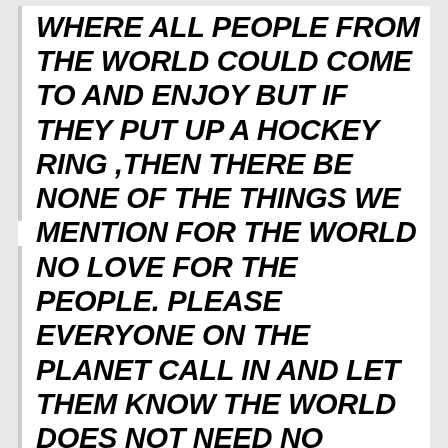WHERE ALL PEOPLE FROM THE WORLD COULD COME TO AND ENJOY BUT IF THEY PUT UP A HOCKEY RING ,THEN THERE BE NONE OF THE THINGS WE MENTION FOR THE WORLD TO SEE BUT SPORT AND PLAY HOCKEY.
NO LOVE FOR THE PEOPLE. PLEASE EVERYONE ON THE PLANET CALL IN AND LET THEM KNOW THE WORLD DOES NOT NEED NO HOCKEY RING IN THE BIRTH PLACE OF HIP HOP BUT WE DO NEED IS THIS PLACE FOR ALL PEOPLE IN THE WORLD CAN COME AND